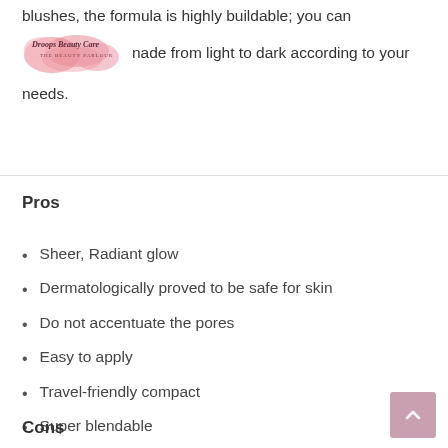blushes, the formula is highly buildable; you can made from light to dark according to your needs.
[Figure (logo): Droops Beauty Care - The Beauty Parlour logo with pink cloud/flower design]
Pros
Sheer, Radiant glow
Dermatologically proved to be safe for skin
Do not accentuate the pores
Easy to apply
Travel-friendly compact
Super blendable
Cons